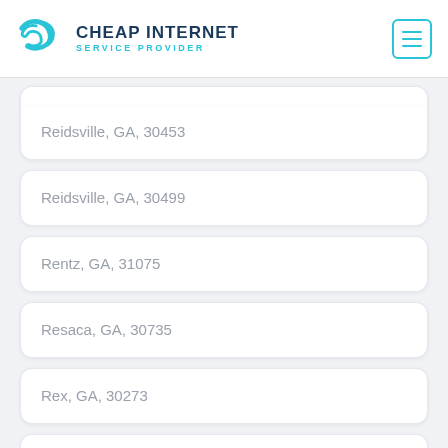CHEAP INTERNET SERVICE PROVIDER
Reidsville, GA, 30453
Reidsville, GA, 30499
Rentz, GA, 31075
Resaca, GA, 30735
Rex, GA, 30273
Reynolds, GA, 31076